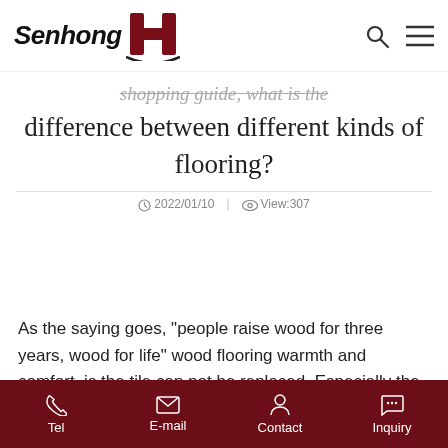Senhong [logo] — navigation with search and menu icons
shopping guide, what is the difference between different kinds of flooring?
2022/01/10 | View:307
As the saying goes, "people raise wood for three years, wood for life" wood flooring warmth and comfort, is the tile can not be replaced. Especially the family has the elderly and children, laying wood flooring safety better.
Therefore, there are still a lot of people who are interested in
Tel | E-mail | Contact | Inquiry